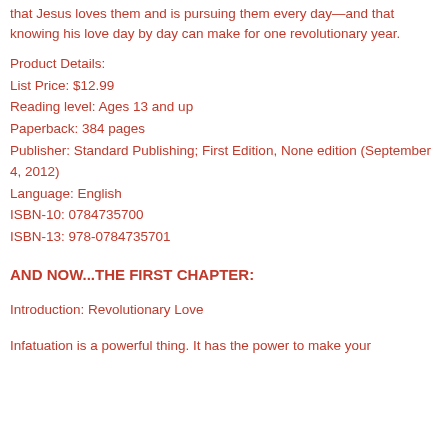that Jesus loves them and is pursuing them every day—and that knowing his love day by day can make for one revolutionary year.
Product Details:
List Price: $12.99
Reading level: Ages 13 and up
Paperback: 384 pages
Publisher: Standard Publishing; First Edition, None edition (September 4, 2012)
Language: English
ISBN-10: 0784735700
ISBN-13: 978-0784735701
AND NOW...THE FIRST CHAPTER:
Introduction: Revolutionary Love
Infatuation is a powerful thing. It has the power to make your